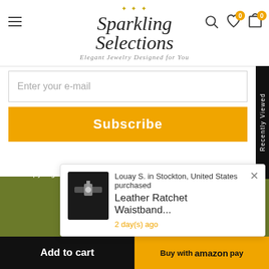Sparkling Selections — Elegant Jewelry Designed for You
Enter your e-mail
Subscribe
Copyright © 2020 Sparkling Selections. All Rights Reserved.
Louay S. in Stockton, United States purchased
Leather Ratchet Waistband...
2 day(s) ago
Add to cart
Buy with amazon pay